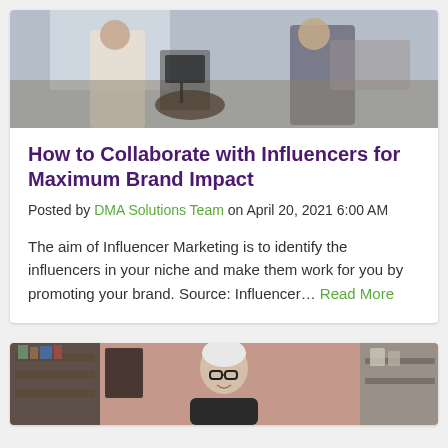[Figure (photo): Two women in a kitchen, one in a white top and one in a striped shirt, appearing to cook or film content]
How to Collaborate with Influencers for Maximum Brand Impact
Posted by DMA Solutions Team on April 20, 2021 6:00 AM
The aim of Influencer Marketing is to identify the influencers in your niche and make them work for you by promoting your brand. Source: Influencer… Read More
[Figure (photo): An older woman with short white hair and glasses smiling, in what appears to be a kitchen or restaurant setting]